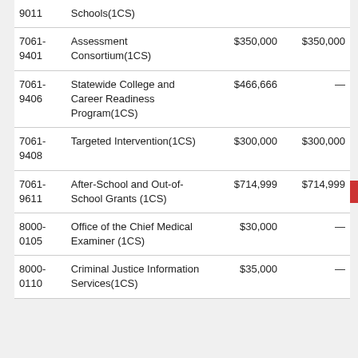| Code | Description | Amount 1 | Amount 2 |
| --- | --- | --- | --- |
| 9011 | Schools(1CS) |  |  |
| 7061-
9401 | Assessment Consortium(1CS) | $350,000 | $350,000 |
| 7061-
9406 | Statewide College and Career Readiness Program(1CS) | $466,666 | — |
| 7061-
9408 | Targeted Intervention(1CS) | $300,000 | $300,000 |
| 7061-
9611 | After-School and Out-of-School Grants (1CS) | $714,999 | $714,999 |
| 8000-
0105 | Office of the Chief Medical Examiner (1CS) | $30,000 | — |
| 8000-
0110 | Criminal Justice Information Services(1CS) | $35,000 | — |